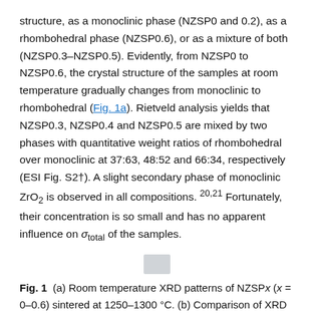structure, as a monoclinic phase (NZSP0 and 0.2), as a rhombohedral phase (NZSP0.6), or as a mixture of both (NZSP0.3–NZSP0.5). Evidently, from NZSP0 to NZSP0.6, the crystal structure of the samples at room temperature gradually changes from monoclinic to rhombohedral (Fig. 1a). Rietveld analysis yields that NZSP0.3, NZSP0.4 and NZSP0.5 are mixed by two phases with quantitative weight ratios of rhombohedral over monoclinic at 37:63, 48:52 and 66:34, respectively (ESI Fig. S2†). A slight secondary phase of monoclinic ZrO₂ is observed in all compositions.²⁰˒²¹ Fortunately, their concentration is so small and has no apparent influence on σ_total of the samples.
[Figure (other): Small placeholder/thumbnail image (gray box)]
Fig. 1  (a) Room temperature XRD patterns of NZSPx (x = 0–0.6) sintered at 1250–1300 °C. (b) Comparison of XRD patterns of NZSP0 measured at room temperature and 200 °C. (c) The lattice parameter